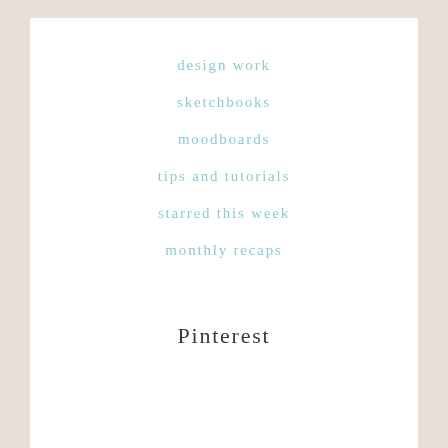design work
sketchbooks
moodboards
tips and tutorials
starred this week
monthly recaps
Pinterest